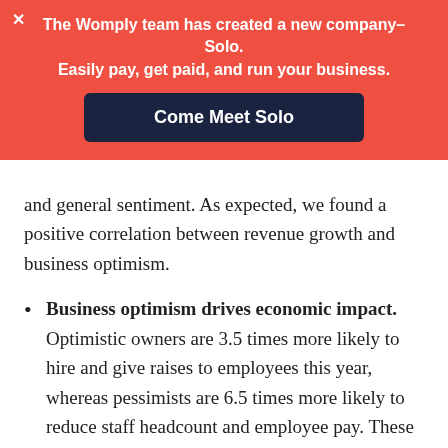The Womply team has created a new company–Solo. Easily pay, get paid, and run your business. Come Meet Solo
and general sentiment. As expected, we found a positive correlation between revenue growth and business optimism.
Business optimism drives economic impact. Optimistic owners are 3.5 times more likely to hire and give raises to employees this year, whereas pessimists are 6.5 times more likely to reduce staff headcount and employee pay. These findings suggest that the impact of small business confidence is enormous when aggregated nationally.
Taxes are top of mind, healthcare not so much. We